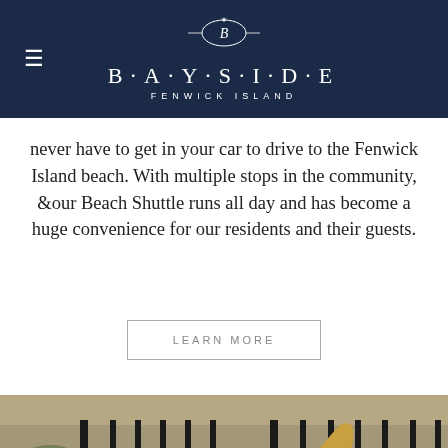BAYSIDE FENWICK ISLAND
never have to get in your car to drive to the Fenwick Island beach. With multiple stops in the community, ïour Beach Shuttle runs all day and has become a huge convenience for our residents and their guests.
LEARN MORE
[Figure (photo): A golden Labrador dog holding a green frisbee in its mouth, standing in an outdoor dog park with a dark metal fence in the background.]